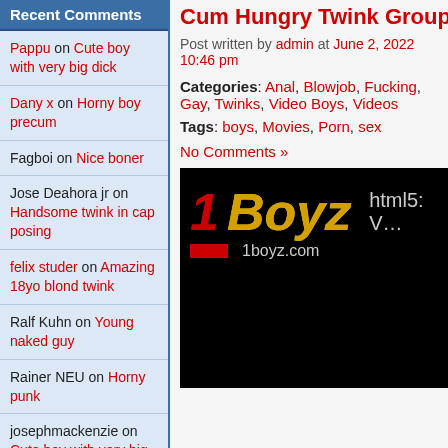Recent Comments
Pappu on Cute boy with very big dick
Dany x on Horny boy precum
Fagboi on Nice boner
Jose Deahora jr on Handsome twink in cap posing
felix studer on Amazing 18yo blond twink
Ralf Kuhn on Young naked guy
Rainer NEU on Horny punk
josephmackenzie on Cute boy with very big dick
jdjdjd on Please with cream
Daniel Suarezd on Lady and the Tramp
Cum Hungry Twink Group S…
Post written by admin at June 2, 2022 10:46 pm
Categories: Anal, Blowjob, Fucking, Gay, Twinks, Video Boys, Videos
Tags: boys, Movies, Porn, sex
No Comments »
[Figure (screenshot): 1Boyz.com logo on black background with html5 video player label]